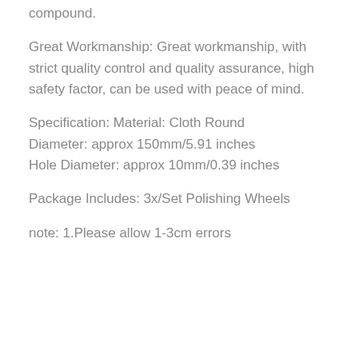compound.
Great Workmanship: Great workmanship, with strict quality control and quality assurance, high safety factor, can be used with peace of mind.
Specification: Material: Cloth Round
Diameter: approx 150mm/5.91 inches
Hole Diameter: approx 10mm/0.39 inches
Package Includes: 3x/Set Polishing Wheels
note: 1.Please allow 1-3cm errors